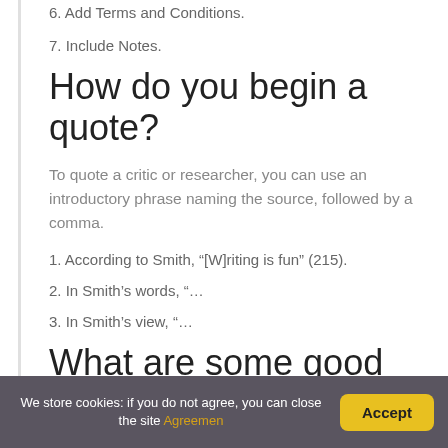6. Add Terms and Conditions.
7. Include Notes.
How do you begin a quote?
To quote a critic or researcher, you can use an introductory phrase naming the source, followed by a comma.
1. According to Smith, “[W]riting is fun” (215).
2. In Smith’s words, “…
3. In Smith’s view, “…
What are some good
We store cookies: if you do not agree, you can close the site Agreement